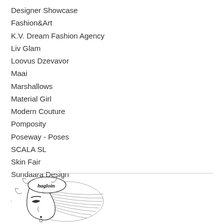Designer Showcase
Fashion&Art
K.V. Dream Fashion Agency
Liv Glam
Loovus Dzevavor
Maai
Marshallows
Material Girl
Modern Couture
Pomposity
Poseway - Poses
SCALA SL
Skin Fair
Sundaara Design
[Figure (illustration): Black and white illustration of a stylized woman's face in profile with decorative hair and a logo/text element on her head reading 'hagloin' or similar script lettering]